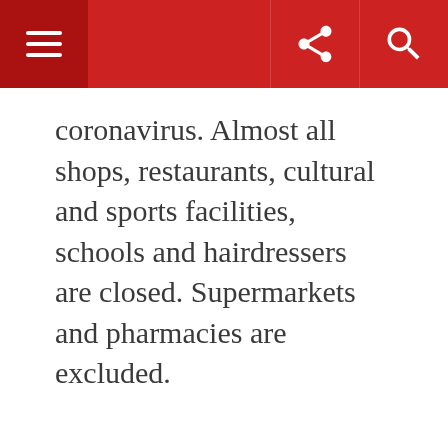coronavirus. Almost all shops, restaurants, cultural and sports facilities, schools and hairdressers are closed. Supermarkets and pharmacies are excluded.